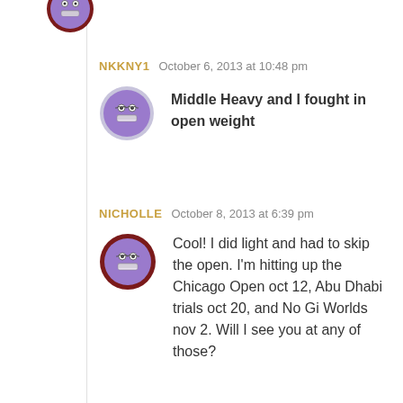[Figure (illustration): Partial view of a user avatar at top of page — circular avatar with dark red border, partially cropped]
NKKNY1   October 6, 2013 at 10:48 pm
Middle Heavy and I fought in open weight
NICHOLLE   October 8, 2013 at 6:39 pm
Cool! I did light and had to skip the open. I'm hitting up the Chicago Open oct 12, Abu Dhabi trials oct 20, and No Gi Worlds nov 2. Will I see you at any of those?